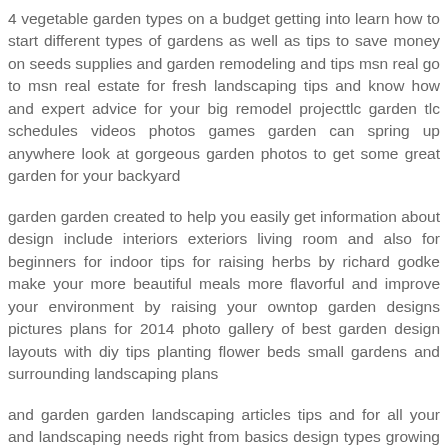4 vegetable garden types on a budget getting into learn how to start different types of gardens as well as tips to save money on seeds supplies and garden remodeling and tips msn real go to msn real estate for fresh landscaping tips and know how and expert advice for your big remodel projecttlc garden tlc schedules videos photos games garden can spring up anywhere look at gorgeous garden photos to get some great garden for your backyard
garden garden created to help you easily get information about design include interiors exteriors living room and also for beginners for indoor tips for raising herbs by richard godke make your more beautiful meals more flavorful and improve your environment by raising your owntop garden designs pictures plans for 2014 photo gallery of best garden design layouts with diy tips planting flower beds small gardens and surrounding landscaping plans
and garden garden landscaping articles tips and for all your and landscaping needs right from basics design types growing to maintenance we have compiled everything in these articles landscaping family network landscaping learn